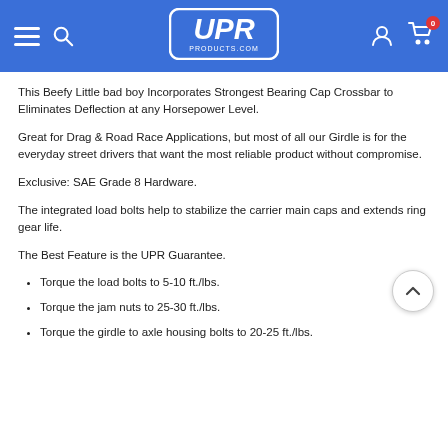UPR Products — navigation header with hamburger menu, search, logo, account, and cart (0 items)
This Beefy Little bad boy Incorporates Strongest Bearing Cap Crossbar to Eliminates Deflection at any Horsepower Level.
Great for Drag & Road Race Applications, but most of all our Girdle is for the everyday street drivers that want the most reliable product without compromise.
Exclusive: SAE Grade 8 Hardware.
The integrated load bolts help to stabilize the carrier main caps and extends ring gear life.
The Best Feature is the UPR Guarantee.
Torque the load bolts to 5-10 ft./lbs.
Torque the jam nuts to 25-30 ft./lbs.
Torque the girdle to axle housing bolts to 20-25 ft./lbs.